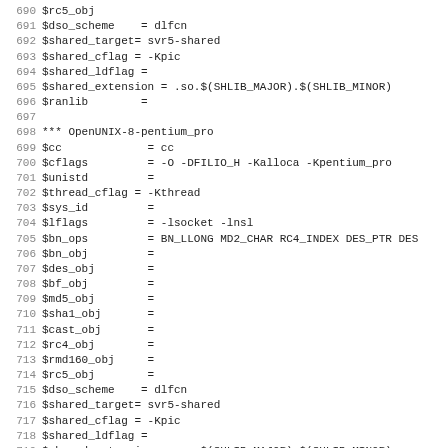Code listing lines 690-722: OpenSSL configuration variables for OpenUNIX-8-pentium_pro and ReliantUNIX targets
690 $rc5_obj
691 $dso_scheme    = dlfcn
692 $shared_target= svr5-shared
693 $shared_cflag = -Kpic
694 $shared_ldflag =
695 $shared_extension = .so.$(SHLIB_MAJOR).$(SHLIB_MINOR)
696 $ranlib        =
697
698 *** OpenUNIX-8-pentium_pro
699 $cc             = cc
700 $cflags         = -O -DFILIO_H -Kalloca -Kpentium_pro
701 $unistd         =
702 $thread_cflag = -Kthread
703 $sys_id         =
704 $lflags         = -lsocket -lnsl
705 $bn_ops         = BN_LLONG MD2_CHAR RC4_INDEX DES_PTR DES
706 $bn_obj         =
707 $des_obj        =
708 $bf_obj         =
709 $md5_obj        =
710 $sha1_obj       =
711 $cast_obj       =
712 $rc4_obj        =
713 $rmd160_obj     =
714 $rc5_obj        =
715 $dso_scheme    = dlfcn
716 $shared_target= svr5-shared
717 $shared_cflag = -Kpic
718 $shared_ldflag =
719 $shared_extension = .so.$(SHLIB_MAJOR).$(SHLIB_MINOR)
720 $ranlib        =
721
722 *** ReliantUNIX